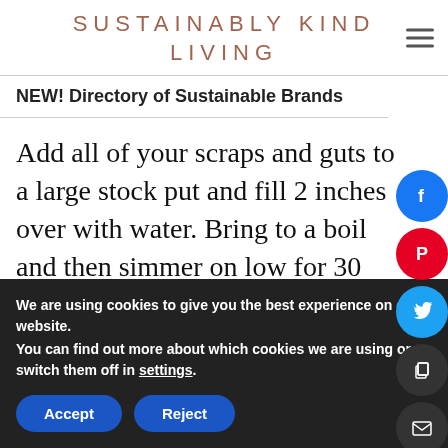SUSTAINABLY KIND LIVING
NEW! Directory of Sustainable Brands
Add all of your scraps and guts to a large stock put and fill 2 inches over with water. Bring to a boil and then simmer on low for 30 minutes to 2 hours. I like to go longer or use my instant pot and do it tha
We are using cookies to give you the best experience on our website.
You can find out more about which cookies we are using or switch them off in settings.